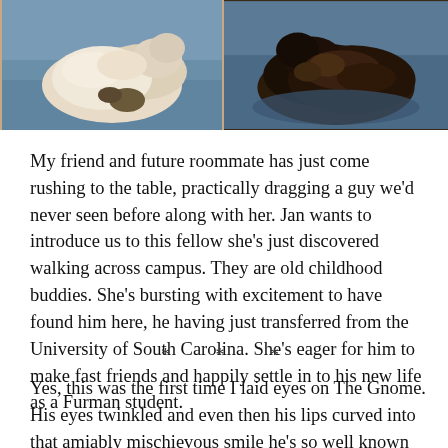[Figure (photo): Two side-by-side photos: left shows a light-colored animal (possibly a swan or dog) in water; right shows a dark-colored animal (possibly a duck or otter) in water]
My friend and future roommate has just come rushing to the table, practically dragging a guy we'd never seen before along with her. Jan wants to introduce us to this fellow she's just discovered walking across campus. They are old childhood buddies. She's bursting with excitement to have found him here, he having just transferred from the University of South Carolina. She's eager for him to make fast friends and happily settle in to his new life as a Furman student.
* * *
Yes, this was the first time I laid eyes on The Gnome. His eyes twinkled and even then his lips curved into that amiably mischievous smile he's so well known for. For the next year, our paths crossed in classroom building hallways or in the student center...